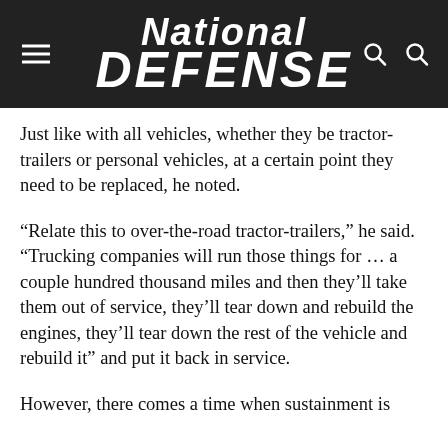National Defense
Just like with all vehicles, whether they be tractor-trailers or personal vehicles, at a certain point they need to be replaced, he noted.
“Relate this to over-the-road tractor-trailers,” he said. “Trucking companies will run those things for … a couple hundred thousand miles and then they’ll take them out of service, they’ll tear down and rebuild the engines, they’ll tear down the rest of the vehicle and rebuild it” and put it back in service.
However, there comes a time when sustainment is